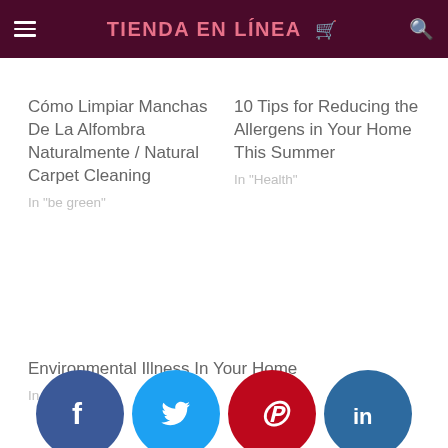≡ TIENDA EN LÍNEA 🛒 🔍
Cómo Limpiar Manchas De La Alfombra Naturalmente / Natural Carpet Cleaning
In "be green"
10 Tips for Reducing the Allergens in Your Home This Summer
In "Health"
Environmental Illness In Your Home
In "Health"
[Figure (infographic): Social media share buttons row: Facebook (blue circle with f), Twitter (light blue circle with bird), Pinterest (red circle with P), LinkedIn (dark blue circle with in)]